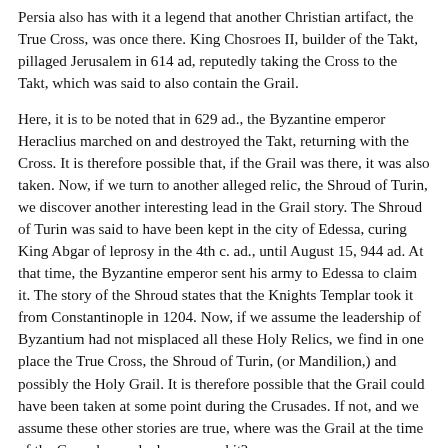Persia also has with it a legend that another Christian artifact, the True Cross, was once there. King Chosroes II, builder of the Takt, pillaged Jerusalem in 614 ad, reputedly taking the Cross to the Takt, which was said to also contain the Grail.
Here, it is to be noted that in 629 ad., the Byzantine emperor Heraclius marched on and destroyed the Takt, returning with the Cross. It is therefore possible that, if the Grail was there, it was also taken. Now, if we turn to another alleged relic, the Shroud of Turin, we discover another interesting lead in the Grail story. The Shroud of Turin was said to have been kept in the city of Edessa, curing King Abgar of leprosy in the 4th c. ad., until August 15, 944 ad. At that time, the Byzantine emperor sent his army to Edessa to claim it. The story of the Shroud states that the Knights Templar took it from Constantinople in 1204. Now, if we assume the leadership of Byzantium had not misplaced all these Holy Relics, we find in one place the True Cross, the Shroud of Turin, (or Mandilion,) and possibly the Holy Grail. It is therefore possible that the Grail could have been taken at some point during the Crusades. If not, and we assume these other stories are true, where was the Grail at the time of the Crusades, and who removed it?
Here we are left with three possibilities. First, the Grail was taken from Constantinople before the Crusades. This is hardly likely since if the emperor sought out these relics, he would probably not